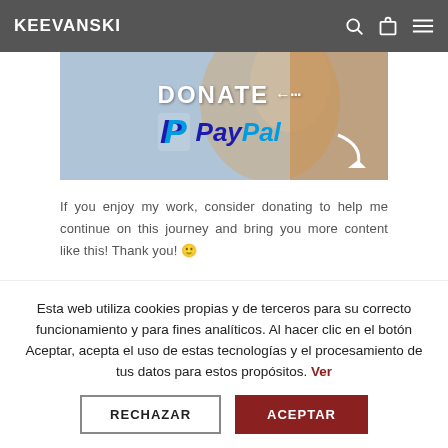KEEVANSKI
[Figure (photo): Donate via PayPal banner with PayPal logo and stylized text over blurred background photo of a person]
If you enjoy my work, consider donating to help me continue on this journey and bring you more content like this! Thank you! 🙂
Esta web utiliza cookies propias y de terceros para su correcto funcionamiento y para fines analíticos. Al hacer clic en el botón Aceptar, acepta el uso de estas tecnologías y el procesamiento de tus datos para estos propósitos. Ver